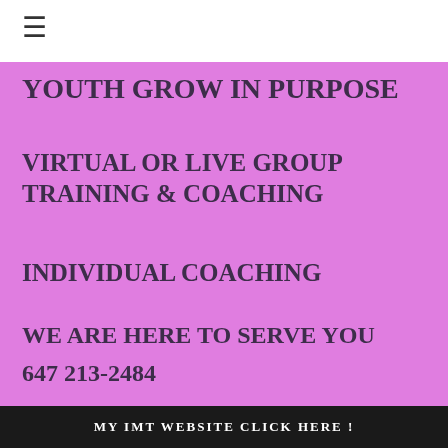≡
YOUTH GROW IN PURPOSE
VIRTUAL OR LIVE GROUP TRAINING & COACHING
INDIVIDUAL COACHING
WE ARE HERE TO SERVE YOU
647 213-2484
MY IMT WEBSITE CLICK HERE !